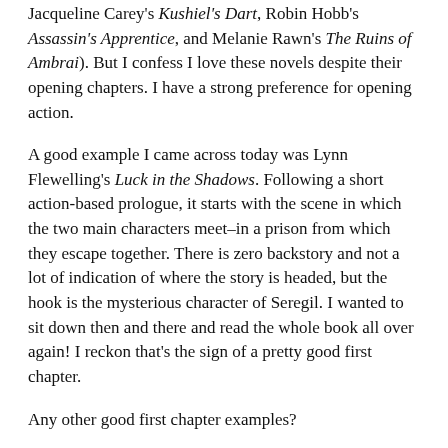Jacqueline Carey's Kushiel's Dart, Robin Hobb's Assassin's Apprentice, and Melanie Rawn's The Ruins of Ambrai). But I confess I love these novels despite their opening chapters. I have a strong preference for opening action.
A good example I came across today was Lynn Flewelling's Luck in the Shadows. Following a short action-based prologue, it starts with the scene in which the two main characters meet–in a prison from which they escape together. There is zero backstory and not a lot of indication of where the story is headed, but the hook is the mysterious character of Seregil. I wanted to sit down then and there and read the whole book all over again! I reckon that's the sign of a pretty good first chapter.
Any other good first chapter examples?